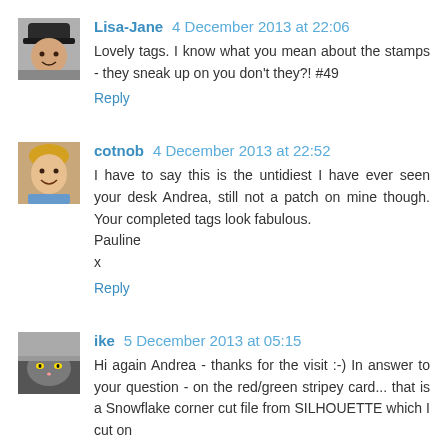[Figure (photo): Avatar photo of Lisa-Jane, a person wearing a hat]
Lisa-Jane 4 December 2013 at 22:06
Lovely tags. I know what you mean about the stamps - they sneak up on you don't they?! #49
Reply
[Figure (photo): Avatar photo of cotnob, a woman smiling]
cotnob 4 December 2013 at 22:52
I have to say this is the untidiest I have ever seen your desk Andrea, still not a patch on mine though. Your completed tags look fabulous.
Pauline
x
Reply
[Figure (photo): Avatar photo of ike, a cat peeking]
ike 5 December 2013 at 05:15
Hi again Andrea - thanks for the visit :-) In answer to your question - on the red/green stripey card... that is a Snowflake corner cut file from SILHOUETTE which I cut on